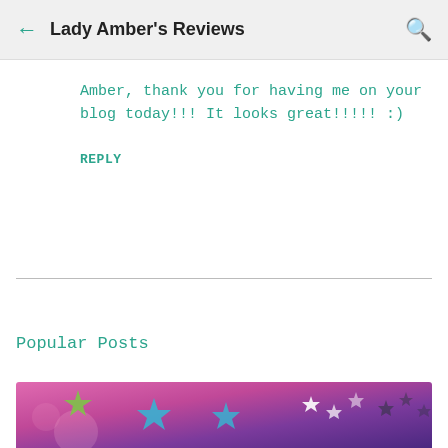Lady Amber's Reviews
Amber, thank you for having me on your blog today!!! It looks great!!!!! :)
REPLY
Popular Posts
[Figure (illustration): Colorful illustration with purple/pink gradient background, stars and decorative elements]